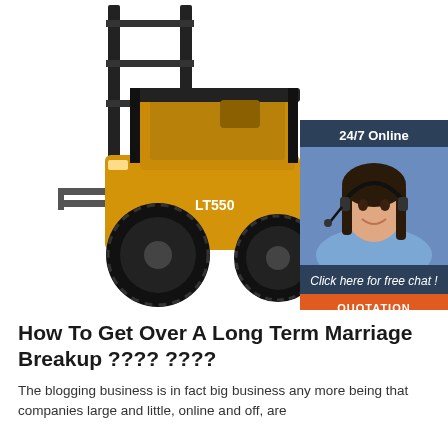[Figure (photo): Yellow LT550 forklift on white background, with a dark blue chat widget overlay in upper right showing a female customer service representative with headset, '24/7 Online' header, 'Click here for free chat!' text, and an orange 'QUOTATION' button.]
How To Get Over A Long Term Marriage Breakup ???? ????
The blogging business is in fact big business any more being that companies large and little, online and off, are